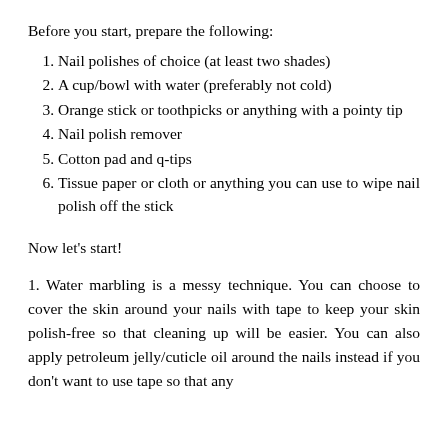Before you start, prepare the following:
1. Nail polishes of choice (at least two shades)
2. A cup/bowl with water (preferably not cold)
3. Orange stick or toothpicks or anything with a pointy tip
4. Nail polish remover
5. Cotton pad and q-tips
6. Tissue paper or cloth or anything you can use to wipe nail polish off the stick
Now let's start!
1. Water marbling is a messy technique. You can choose to cover the skin around your nails with tape to keep your skin polish-free so that cleaning up will be easier. You can also apply petroleum jelly/cuticle oil around the nails instead if you don't want to use tape so that any